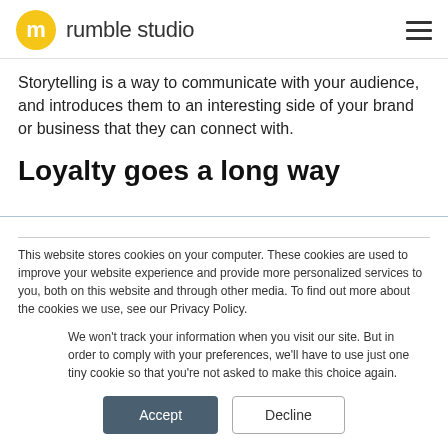[Figure (logo): Rumble Studio logo: yellow circle with stylized 'm' icon followed by text 'rumble studio']
Storytelling is a way to communicate with your audience, and introduces them to an interesting side of your brand or business that they can connect with.
Loyalty goes a long way
This website stores cookies on your computer. These cookies are used to improve your website experience and provide more personalized services to you, both on this website and through other media. To find out more about the cookies we use, see our Privacy Policy.
We won't track your information when you visit our site. But in order to comply with your preferences, we'll have to use just one tiny cookie so that you're not asked to make this choice again.